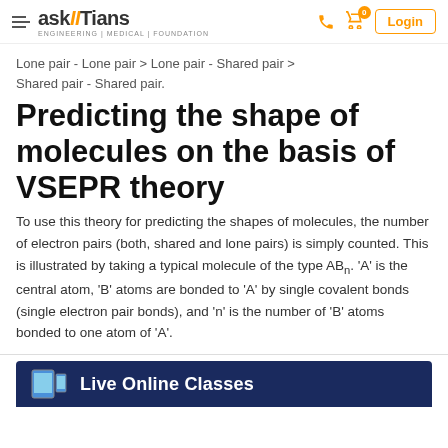askIITians | ENGINEERING | MEDICAL | FOUNDATION
Lone pair - Lone pair > Lone pair - Shared pair > Shared pair - Shared pair.
Predicting the shape of molecules on the basis of VSEPR theory
To use this theory for predicting the shapes of molecules, the number of electron pairs (both, shared and lone pairs) is simply counted. This is illustrated by taking a typical molecule of the type ABn. 'A' is the central atom, 'B' atoms are bonded to 'A' by single covalent bonds (single electron pair bonds), and 'n' is the number of 'B' atoms bonded to one atom of 'A'.
[Figure (other): Live Online Classes promotional banner with dark blue background and phone/tablet device image]